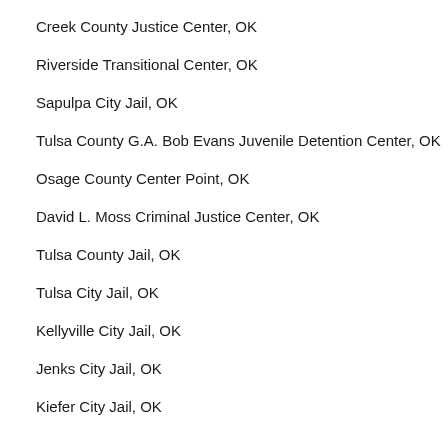Creek County Justice Center, OK
Riverside Transitional Center, OK
Sapulpa City Jail, OK
Tulsa County G.A. Bob Evans Juvenile Detention Center, OK
Osage County Center Point, OK
David L. Moss Criminal Justice Center, OK
Tulsa County Jail, OK
Tulsa City Jail, OK
Kellyville City Jail, OK
Jenks City Jail, OK
Kiefer City Jail, OK